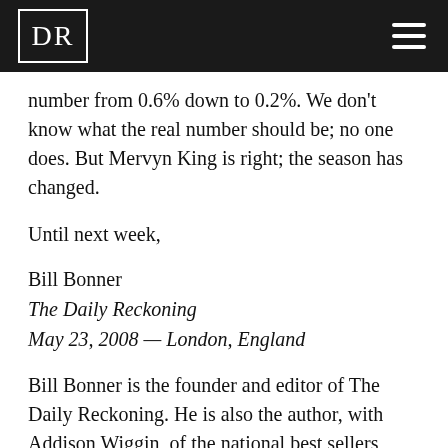DR
number from 0.6% down to 0.2%. We don't know what the real number should be; no one does. But Mervyn King is right; the season has changed.
Until next week,
Bill Bonner
The Daily Reckoning
May 23, 2008 — London, England
Bill Bonner is the founder and editor of The Daily Reckoning. He is also the author, with Addison Wiggin, of the national best sellers Financial Reckoning Day: Surviving the Soft Depression of the 21st Century and Empire of Debt: The Rise of an Epic